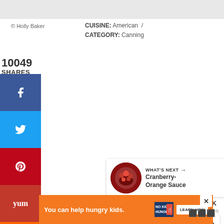[Figure (screenshot): Gray top bar image placeholder area]
© Holly Baker
CUISINE: American / CATEGORY: Canning
10049 SHARES
[Figure (infographic): Social sharing sidebar with Facebook, Twitter, Pinterest, Yummly, and Mix buttons]
[Figure (infographic): Heart/like button showing 10.1K likes and share button circle]
[Figure (infographic): What's Next banner showing Cranberry-Orange Sauce with thumbnail image]
[Figure (infographic): Orange ad banner: You can help hungry kids. No Kid Hungry. LEARN HOW]
[Figure (logo): WWo logo in gray at bottom right]